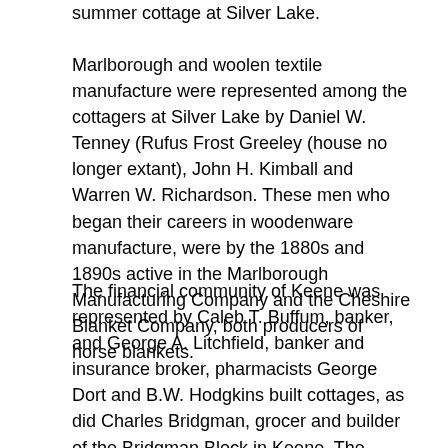summer cottage at Silver Lake.
Marlborough and woolen textile manufacture were represented among the cottagers at Silver Lake by Daniel W. Tenney (Rufus Frost Greeley (house no longer extant), John H. Kimball and Warren W. Richardson. These men who began their careers in woodenware manufacture, were by the 1880s and 1890s active in the Marlborough Manufacturing Company and the Cheshire Blanket Company, both producers of horse blankets.
The financial community of Keene was represented by Caleb T. Buffum, banker, and George A. Litchfield, banker and insurance broker, pharmacists George Dort and B.W. Hodgkins built cottages, as did Charles Bridgman, grocer and builder of the Bridgman Block in Keene. The builder Cassius M. White bought land but never built for himself. Herschel Fowler, whose "lock corner boxes" became the principal product of